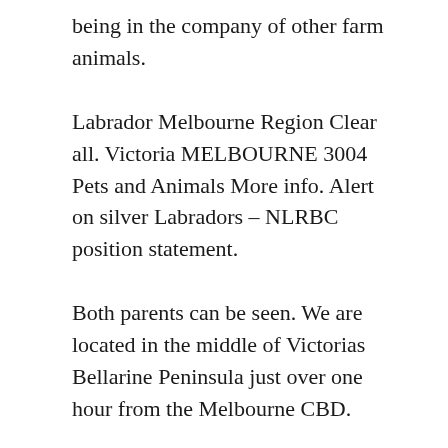being in the company of other farm animals.
Labrador Melbourne Region Clear all. Victoria MELBOURNE 3004 Pets and Animals More info. Alert on silver Labradors – NLRBC position statement.
Both parents can be seen. We are located in the middle of Victorias Bellarine Peninsula just over one hour from the Melbourne CBD.